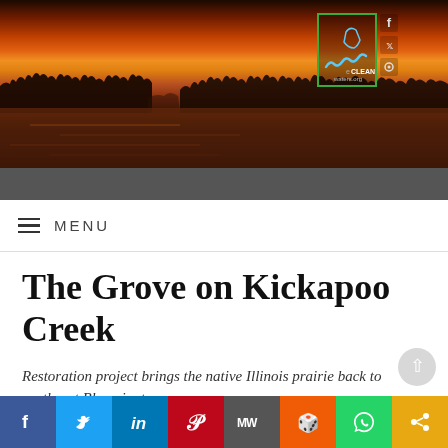[Figure (photo): Sunset over a lake or wetland with orange and golden sky, tree silhouettes along the horizon, with a green-bordered website logo overlay showing a wavy line graphic and 'eCLEANwaters' text, and social media icons (Facebook, Twitter, Instagram) in upper right]
MENU
The Grove on Kickapoo Creek
Restoration project brings the native Illinois prairie back to southeast Bloomington
By Carl Roberts, EAC Volunteer